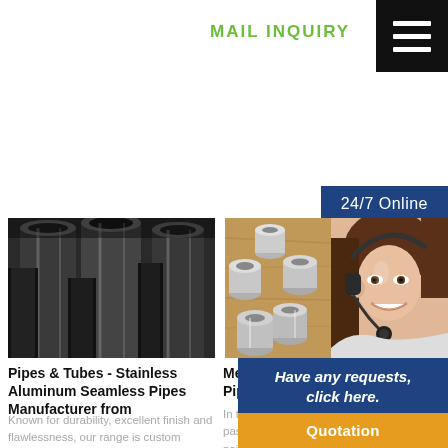MAIL INQUIRY
24/7 Online
[Figure (photo): Stainless steel pipes and tubes bundled together, seen from the end]
Pipes & Tubes - Stainless Aluminum Seamless Pipes Manufacturer from
Known for durability, excellent finish and flawlessness, our range is custom designed as
[Figure (photo): Metal rolled pipes and cylinders on a wooden surface]
Metal Rolled Pipes & Cylin
In this process, metal is passed through a pair of rolls to form tubes, pipes, and cylinders of a desired size. Metal Rolling (l. Our
[Figure (photo): Customer service agent, woman with headset smiling]
Have any requests, click here.
Quotation